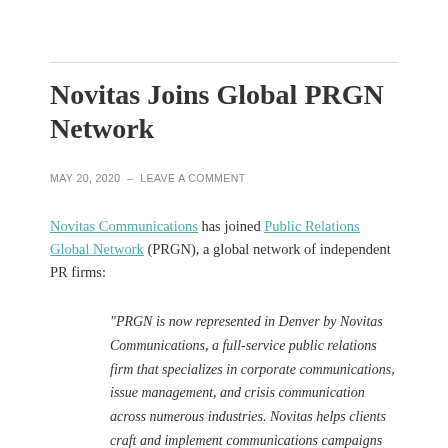Novitas Joins Global PRGN Network
MAY 20, 2020  –  LEAVE A COMMENT
Novitas Communications has joined Public Relations Global Network (PRGN), a global network of independent PR firms:
“PRGN is now represented in Denver by Novitas Communications, a full-service public relations firm that specializes in corporate communications, issue management, and crisis communication across numerous industries. Novitas helps clients craft and implement communications campaigns that